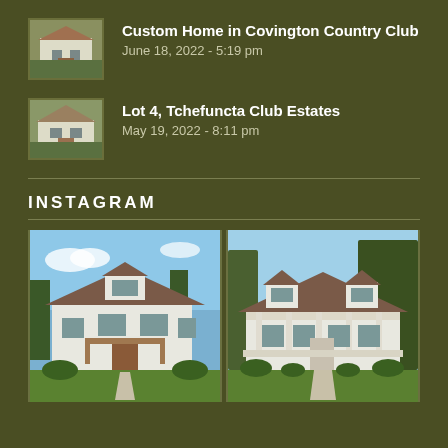Custom Home in Covington Country Club
June 18, 2022 - 5:19 pm
Lot 4, Tchefuncta Club Estates
May 19, 2022 - 8:11 pm
INSTAGRAM
[Figure (photo): Two side-by-side photos of custom white homes with brown roofs and green lawns]